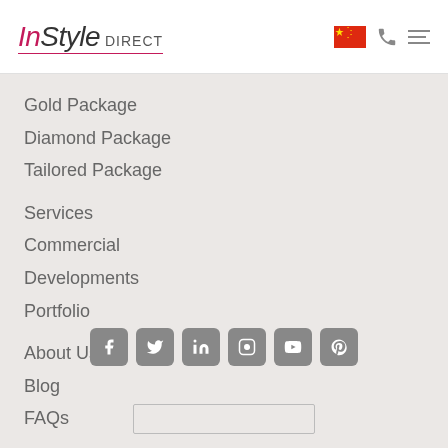[Figure (logo): InStyle Direct logo with pink/red color scheme, italic font, 'DIRECT' subtitle in small caps]
Gold Package
Diamond Package
Tailored Package
Services
Commercial
Developments
Portfolio
About Us
Blog
FAQs
[Figure (infographic): Social media icons row: Facebook, Twitter, LinkedIn, Instagram, YouTube, Pinterest — grey rounded square icons]